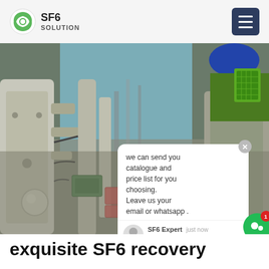SF6 SOLUTION
[Figure (photo): Industrial SF6 gas equipment/switchgear photograph taken outdoors, showing large cylindrical and pipe-type electrical apparatus with warning labels. A worker wearing a blue hard hat and green safety vest is visible in the upper right corner. An overlaid chat popup and green chat button widget appear over the image. Watermark reads SF6China in the lower right.]
exquisite SF6 recovery equipment prices